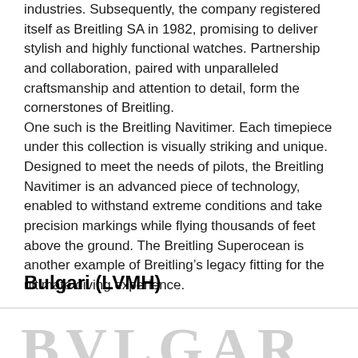industries. Subsequently, the company registered itself as Breitling SA in 1982, promising to deliver stylish and highly functional watches. Partnership and collaboration, paired with unparalleled craftsmanship and attention to detail, form the cornerstones of Breitling.
One such is the Breitling Navitimer. Each timepiece under this collection is visually striking and unique. Designed to meet the needs of pilots, the Breitling Navitimer is an advanced piece of technology, enabled to withstand extreme conditions and take precision markings while flying thousands of feet above the ground. The Breitling Superocean is another example of Breitling's legacy fitting for the ultimate diving experience.
Bulgari (LVMH)
[Figure (other): Large decorative watermark text spelling BVLGAR in light grey serif letters at the bottom of the page]